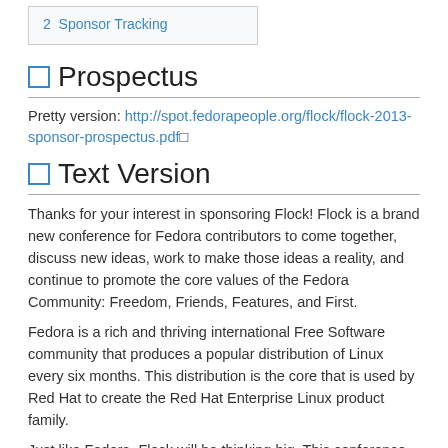2  Sponsor Tracking
Prospectus
Pretty version: http://spot.fedorapeople.org/flock/flock-2013-sponsor-prospectus.pdf
Text Version
Thanks for your interest in sponsoring Flock! Flock is a brand new conference for Fedora contributors to come together, discuss new ideas, work to make those ideas a reality, and continue to promote the core values of the Fedora Community: Freedom, Friends, Features, and First.
Fedora is a rich and thriving international Free Software community that produces a popular distribution of Linux every six months. This distribution is the core that is used by Red Hat to create the Red Hat Enterprise Linux product family.
Just like Fedora, Flock will be thinking big. This conference will